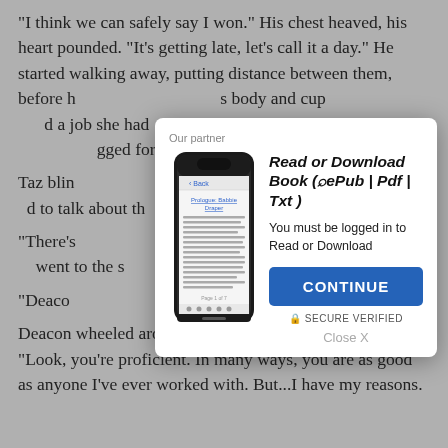“I think we can safely say I won.” His chest heaved, his heart pounded. “It’s getting late, let’s call it a day.” He started walking away, putting distance between them, before h… body and cup… d a job she had… of was holding… gged for more…
Taz blin… he fell in behin… d to talk about th…
“There’s… until he got to h… went to the s…
“Deaco…
Deacon wheeled around, his cock straining at his zipper. “Look, you’re proficient. In many ways, you are as good as anyone I’ve ever worked with. But…I have my reasons.
[Figure (screenshot): Modal dialog with phone illustration showing an e-reader app. Title: Read or Download Book (⎕ePub | Pdf | Txt). Subtitle: You must be logged in to Read or Download. Blue CONTINUE button. SECURE VERIFIED text. Close X link.]